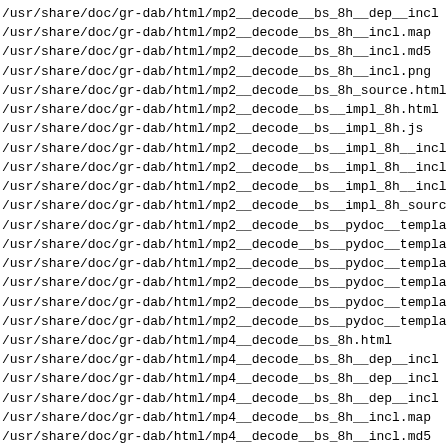/usr/share/doc/gr-dab/html/mp2__decode__bs_8h__dep__incl
/usr/share/doc/gr-dab/html/mp2__decode__bs_8h__incl.map
/usr/share/doc/gr-dab/html/mp2__decode__bs_8h__incl.md5
/usr/share/doc/gr-dab/html/mp2__decode__bs_8h__incl.png
/usr/share/doc/gr-dab/html/mp2__decode__bs_8h_source.html
/usr/share/doc/gr-dab/html/mp2__decode__bs__impl_8h.html
/usr/share/doc/gr-dab/html/mp2__decode__bs__impl_8h.js
/usr/share/doc/gr-dab/html/mp2__decode__bs__impl_8h__incl
/usr/share/doc/gr-dab/html/mp2__decode__bs__impl_8h__incl
/usr/share/doc/gr-dab/html/mp2__decode__bs__impl_8h__incl
/usr/share/doc/gr-dab/html/mp2__decode__bs__impl_8h_source
/usr/share/doc/gr-dab/html/mp2__decode__bs__pydoc__templa
/usr/share/doc/gr-dab/html/mp2__decode__bs__pydoc__templa
/usr/share/doc/gr-dab/html/mp2__decode__bs__pydoc__templa
/usr/share/doc/gr-dab/html/mp2__decode__bs__pydoc__templa
/usr/share/doc/gr-dab/html/mp2__decode__bs__pydoc__templa
/usr/share/doc/gr-dab/html/mp2__decode__bs__pydoc__templa
/usr/share/doc/gr-dab/html/mp4__decode__bs_8h.html
/usr/share/doc/gr-dab/html/mp4__decode__bs_8h__dep__incl
/usr/share/doc/gr-dab/html/mp4__decode__bs_8h__dep__incl
/usr/share/doc/gr-dab/html/mp4__decode__bs_8h__dep__incl
/usr/share/doc/gr-dab/html/mp4__decode__bs_8h__incl.map
/usr/share/doc/gr-dab/html/mp4__decode__bs_8h__incl.md5
/usr/share/doc/gr-dab/html/mp4__decode__bs_8h__incl.png
/usr/share/doc/gr-dab/html/mp4__decode__bs_8h_source.html
/usr/share/doc/gr-dab/html/mp4__decode__bs__impl_8h.html
/usr/share/doc/gr-dab/html/mp4__decode__bs__impl_8h__incl
/usr/share/doc/gr-dab/html/mp4__decode__bs__impl_8h__incl
/usr/share/doc/gr-dab/html/mp4__decode__bs__impl_8h__incl
/usr/share/doc/gr-dab/html/mp4__decode__bs__impl_8h_source